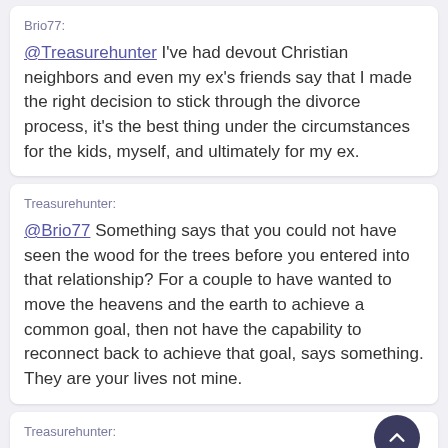Brio77: @Treasurehunter I've had devout Christian neighbors and even my ex's friends say that I made the right decision to stick through the divorce process, it's the best thing under the circumstances for the kids, myself, and ultimately for my ex.
Treasurehunter: @Brio77 Something says that you could not have seen the wood for the trees before you entered into that relationship? For a couple to have wanted to move the heavens and the earth to achieve a common goal, then not have the capability to reconnect back to achieve that goal, says something. They are your lives not mine.
Treasurehunter: @MrLizard In the UK, mental or controlling